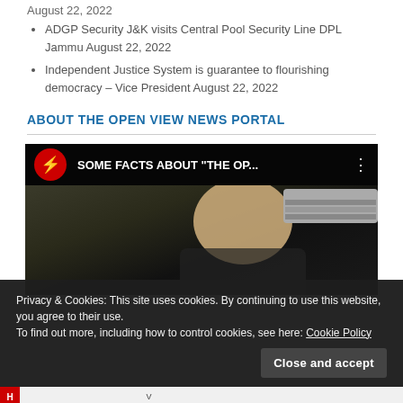August 22, 2022
ADGP Security J&K visits Central Pool Security Line DPL Jammu August 22, 2022
Independent Justice System is guarantee to flourishing democracy – Vice President August 22, 2022
ABOUT THE OPEN VIEW NEWS PORTAL
[Figure (screenshot): YouTube-style video thumbnail with title 'SOME FACTS ABOUT "THE OP...' and StreamYard branding, showing a person's head and an AC unit in the background]
Privacy & Cookies: This site uses cookies. By continuing to use this website, you agree to their use.
To find out more, including how to control cookies, see here: Cookie Policy
Close and accept